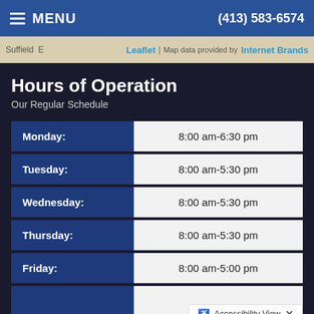MENU  (413) 583-6574
[Figure (map): Partial map showing Suffield area with Leaflet attribution and Internet Brands map data]
Hours of Operation
Our Regular Schedule
| Day | Hours |
| --- | --- |
| Monday: | 8:00 am-6:30 pm |
| Tuesday: | 8:00 am-5:30 pm |
| Wednesday: | 8:00 am-5:30 pm |
| Thursday: | 8:00 am-5:30 pm |
| Friday: | 8:00 am-5:00 pm |